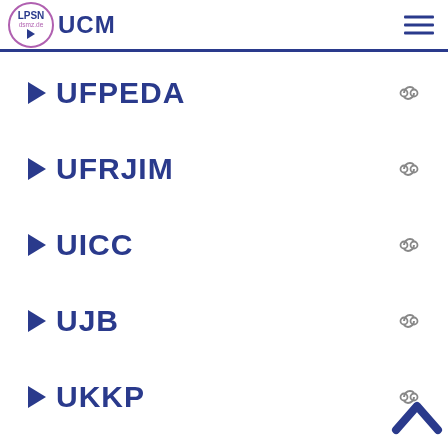LPSN dsmz.de UCM
UFPEDA
UFRJIM
UICC
UJB
UKKP